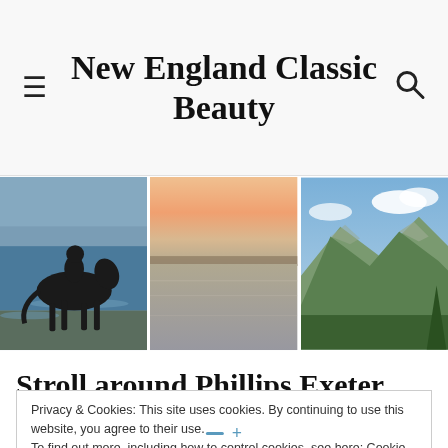New England Classic Beauty
[Figure (photo): Silhouette of a person riding a horse along a beach shoreline with ocean waves]
[Figure (photo): Calm coastal water at sunset with pink and orange sky]
[Figure (photo): Mountain landscape with green forested hills and blue sky with clouds]
Stroll around Phillips Exeter
Privacy & Cookies: This site uses cookies. By continuing to use this website, you agree to their use.
To find out more, including how to control cookies, see here: Cookie Policy
Close and accept